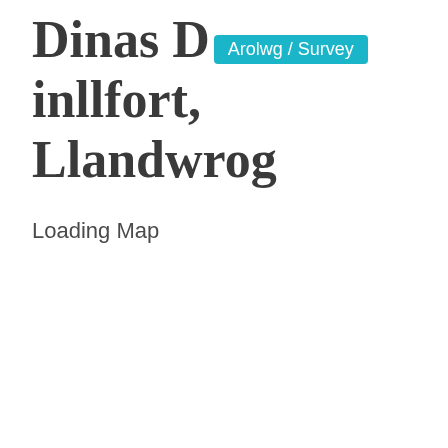Dinas Dinllfort, Llandwrog
Loading Map